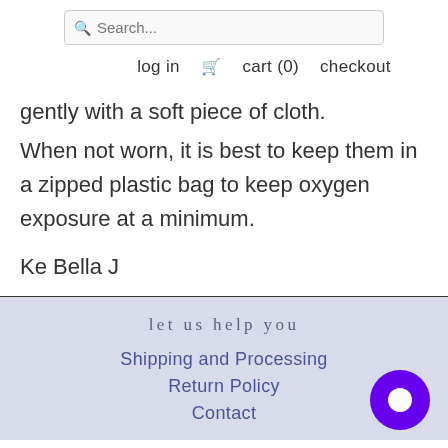Search... | log in | cart (0) | checkout
gently with a soft piece of cloth.
When not worn, it is best to keep them in a zipped plastic bag to keep oxygen exposure at a minimum.
Ke Bella J
let us help you
Shipping and Processing
Return Policy
Contact